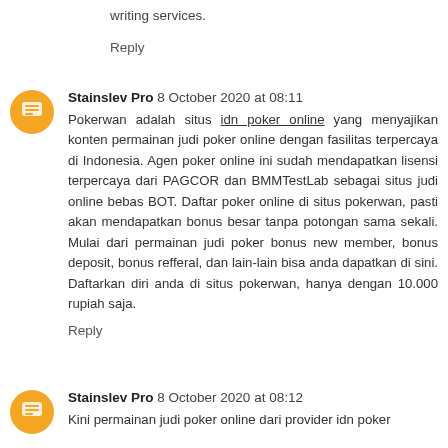writing services.
Reply
Stainslev Pro 8 October 2020 at 08:11
Pokerwan adalah situs idn poker online yang menyajikan konten permainan judi poker online dengan fasilitas terpercaya di Indonesia. Agen poker online ini sudah mendapatkan lisensi terpercaya dari PAGCOR dan BMMTestLab sebagai situs judi online bebas BOT. Daftar poker online di situs pokerwan, pasti akan mendapatkan bonus besar tanpa potongan sama sekali. Mulai dari permainan judi poker bonus new member, bonus deposit, bonus refferal, dan lain-lain bisa anda dapatkan di sini. Daftarkan diri anda di situs pokerwan, hanya dengan 10.000 rupiah saja.
Reply
Stainslev Pro 8 October 2020 at 08:12
Kini permainan judi poker online dari provider idn poker